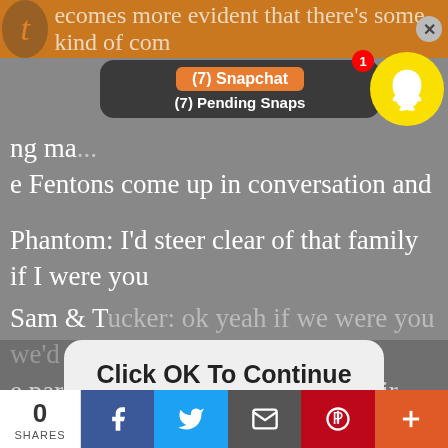ecomes more evident that there's some kind of comp
[Figure (screenshot): Snapchat notification bar showing '(7) Snapchat' and '(7) Pending Snaps' with Snapchat ghost icon and badge showing 1]
ng ma... e Fentons come up in conversation and
Phantom: I'd steer clear of that family if I were you
Sam & Tucker: ok yeah if we were you we'd avoid the parents too... but uh... class? their son is actually in our grade and we can't tell if he's lonely or just tired
[Figure (screenshot): iOS-style modal dialog box with title 'Click OK To Continue' and OK button]
Phantom (because I love Danny but can be stoopid): No! Especially avoid their son!
Danny was trying to cover his own ass and they interpret it as Phantom being afraid of Danny and assu
0 SHARES | Facebook | Twitter | Email | Pinterest | +